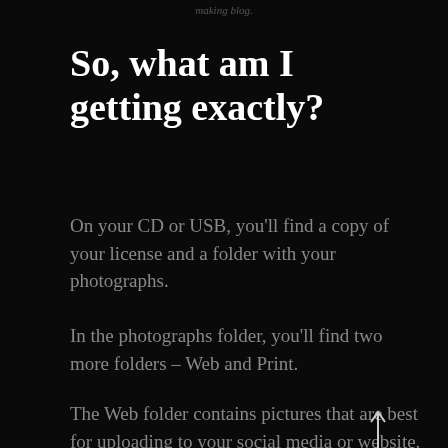making blog
So, what am I getting exactly?
On your CD or USB, you’ll find a copy of your license and a folder with your photographs.
In the photographs folder, you’ll find two more folders – Web and Print.
The Web folder contains pictures that are best for uploading to your social media or website. They’re at the highest resolution a